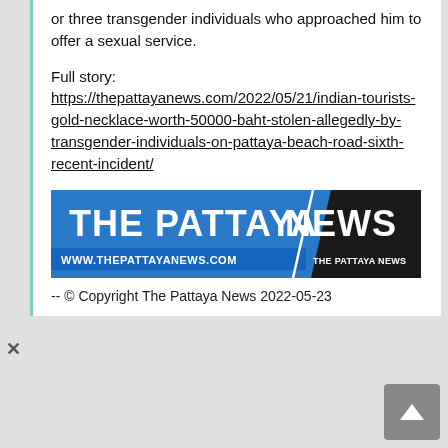or three transgender individuals who approached him to offer a sexual service.
Full story: https://thepattayanews.com/2022/05/21/indian-tourists-gold-necklace-worth-50000-baht-stolen-allegedly-by-transgender-individuals-on-pattaya-beach-road-sixth-recent-incident/
[Figure (logo): The Pattaya News logo — blue parallelogram with white text 'THE PATTAYA NEWS' and website URL 'WWW.THEPATTAYANEWS.COM', with black parallelogram section on the right also reading 'THE PATTAYA NEWS']
-- © Copyright The Pattaya News 2022-05-23